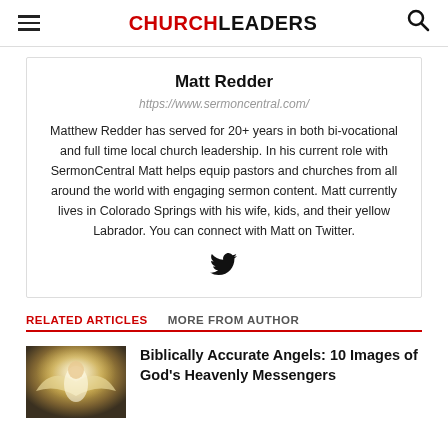CHURCHLEADERS
Matt Redder
https://www.sermoncentral.com/
Matthew Redder has served for 20+ years in both bi-vocational and full time local church leadership. In his current role with SermonCentral Matt helps equip pastors and churches from all around the world with engaging sermon content. Matt currently lives in Colorado Springs with his wife, kids, and their yellow Labrador. You can connect with Matt on Twitter.
[Figure (logo): Twitter bird icon]
RELATED ARTICLES   MORE FROM AUTHOR
Biblically Accurate Angels: 10 Images of God's Heavenly Messengers
[Figure (photo): Artistic image of an angel with wings and light effects]